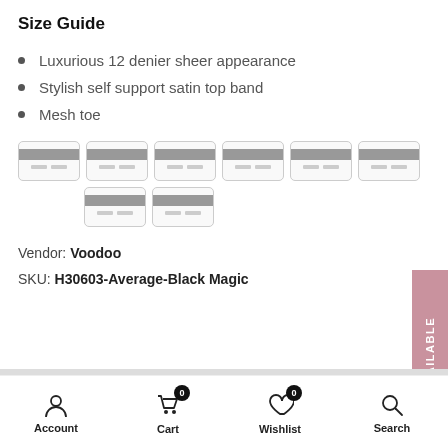Size Guide
Luxurious 12 denier sheer appearance
Stylish self support satin top band
Mesh toe
[Figure (other): Payment method icons showing credit card symbols in two rows]
Vendor: Voodoo
SKU: H30603-Average-Black Magic